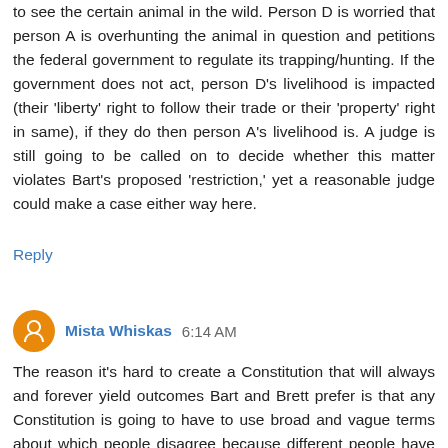to see the certain animal in the wild. Person D is worried that person A is overhunting the animal in question and petitions the federal government to regulate its trapping/hunting. If the government does not act, person D's livelihood is impacted (their 'liberty' right to follow their trade or their 'property' right in same), if they do then person A's livelihood is. A judge is still going to be called on to decide whether this matter violates Bart's proposed 'restriction,' yet a reasonable judge could make a case either way here.
Reply
Mista Whiskas 6:14 AM
The reason it's hard to create a Constitution that will always and forever yield outcomes Bart and Brett prefer is that any Constitution is going to have to use broad and vague terms about which people disagree because different people have different ideas about concepts such as 'liberty,' 'cruel,' 'property,' etc. The only way to make